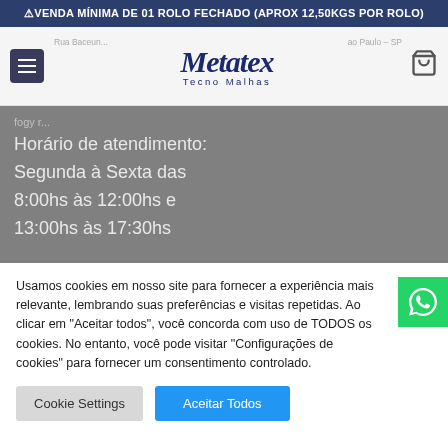⚠VENDA MÍNIMA DE 01 ROLO FECHADO (APROX 12,50KGS POR ROLO)
[Figure (logo): Metatex Tecno Malhas logo with hamburger menu, address text, and cart icon]
Horário de atendimento:
Segunda à Sexta das
8:00hs às 12:00hs e
13:00hs às 17:30hs
Usamos cookies em nosso site para fornecer a experiência mais relevante, lembrando suas preferências e visitas repetidas. Ao clicar em "Aceitar todos", você concorda com uso de TODOS os cookies. No entanto, você pode visitar "Configurações de cookies" para fornecer um consentimento controlado.
Cookie Settings
Aceitar Todos